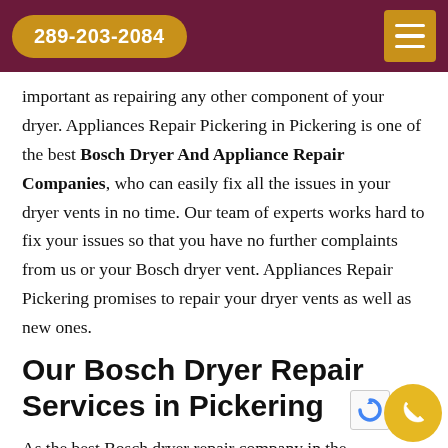289-203-2084
important as repairing any other component of your dryer. Appliances Repair Pickering in Pickering is one of the best Bosch Dryer And Appliance Repair Companies, who can easily fix all the issues in your dryer vents in no time. Our team of experts works hard to fix your issues so that you have no further complaints from us or your Bosch dryer vent. Appliances Repair Pickering promises to repair your dryer vents as well as new ones.
Our Bosch Dryer Repair Services in Pickering
As the best Bosch dryer repair company in the we are more than happy to work for you.